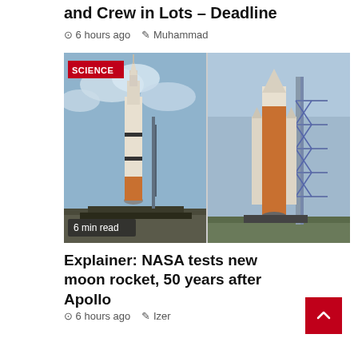and Crew in Lots – Deadline
6 hours ago  Muhammad
[Figure (photo): Two rocket photos side by side: left shows Saturn V rocket on crawler with SCIENCE badge and '6 min read' overlay; right shows NASA SLS rocket on launch pad]
Explainer: NASA tests new moon rocket, 50 years after Apollo
6 hours ago  Izer